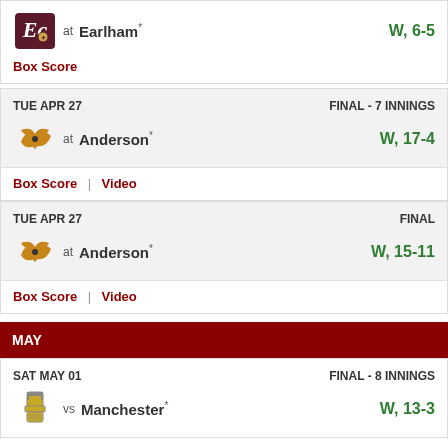at Earlham * W, 6-5
Box Score
TUE APR 27  FINAL - 7 INNINGS
at Anderson * W, 17-4
Box Score | Video
TUE APR 27  FINAL
at Anderson * W, 15-11
Box Score | Video
MAY
SAT MAY 01  FINAL - 8 INNINGS
vs Manchester * W, 13-3